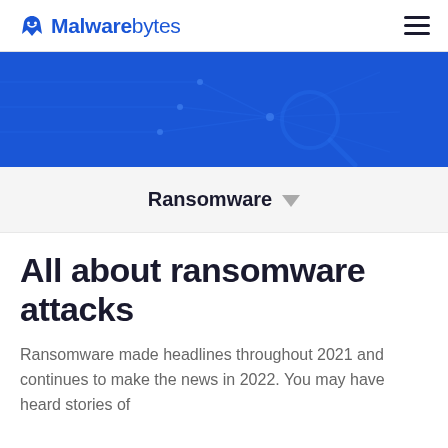Malwarebytes
[Figure (illustration): Blue banner with decorative circuit/tech pattern lines and a magnifying glass icon overlay in a darker blue shade]
Ransomware
All about ransomware attacks
Ransomware made headlines throughout 2021 and continues to make the news in 2022. You may have heard stories of